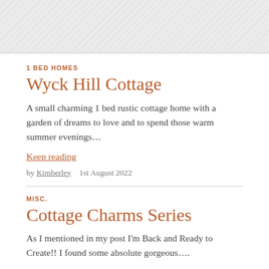[Figure (photo): Placeholder image area with diagonal hatching pattern]
1 BED HOMES
Wyck Hill Cottage
A small charming 1 bed rustic cottage home with a garden of dreams to love and to spend those warm summer evenings…
Keep reading
by Kimberley    1st August 2022
MISC.
Cottage Charms Series
As I mentioned in my post I'm Back and Ready to Create!! I found some absolute gorgeous….